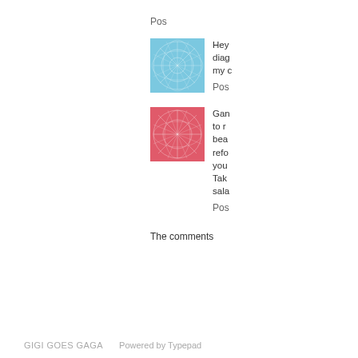Pos
[Figure (illustration): Thumbnail image with blue background and white network/web pattern (circular design)]
Hey diag my c
Pos
[Figure (illustration): Thumbnail image with red/pink background and white network/web pattern (floral design)]
Gan to r bea refo you Tak sala
Pos
The comments
GIGI GOES GAGA   Powered by Typepad